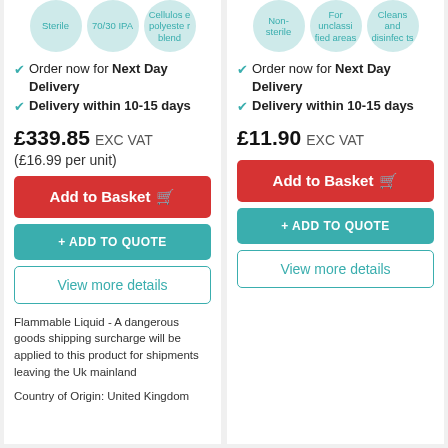[Figure (other): Three light teal circular bubbles with text: 'Sterile', '70/30 IPA', 'Cellulose polyester blend']
Order now for Next Day Delivery
Delivery within 10-15 days
£339.85 EXC VAT
(£16.99 per unit)
Add to Basket
+ ADD TO QUOTE
View more details
Flammable Liquid - A dangerous goods shipping surcharge will be applied to this product for shipments leaving the Uk mainland
Country of Origin: United Kingdom
[Figure (other): Three light teal circular bubbles with text: 'Non-sterile', 'For unclassified areas', 'Cleans and disinfects']
Order now for Next Day Delivery
Delivery within 10-15 days
£11.90 EXC VAT
Add to Basket
+ ADD TO QUOTE
View more details